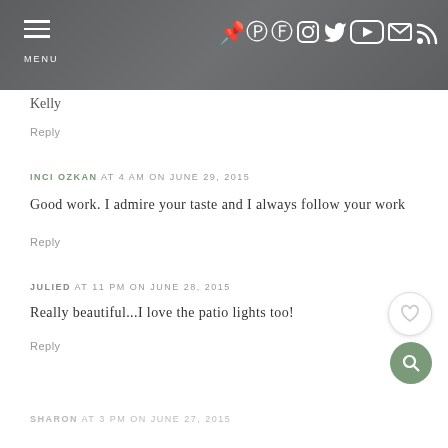MENU [navigation header with social icons: Pinterest, Facebook, Instagram, Twitter, YouTube, Email, RSS]
Kelly
Reply
INCI OZKAN AT 4 AM ON JUNE 29, 2015
Good work. I admire your taste and I always follow your work
Reply
JULIED AT 11 PM ON JUNE 28, 2015
Really beautiful...I love the patio lights too!
Reply
SHARON AT 3 PM ON JUNE 27, 2015